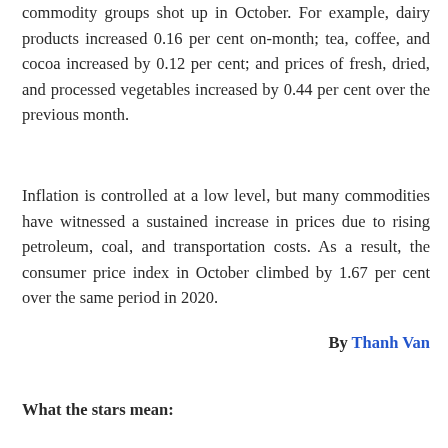commodity groups shot up in October. For example, dairy products increased 0.16 per cent on-month; tea, coffee, and cocoa increased by 0.12 per cent; and prices of fresh, dried, and processed vegetables increased by 0.44 per cent over the previous month.
Inflation is controlled at a low level, but many commodities have witnessed a sustained increase in prices due to rising petroleum, coal, and transportation costs. As a result, the consumer price index in October climbed by 1.67 per cent over the same period in 2020.
By Thanh Van
What the stars mean: